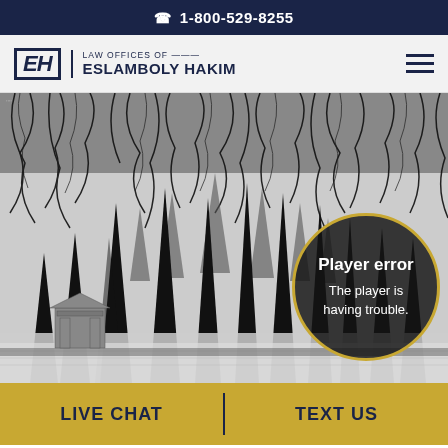1-800-529-8255
[Figure (logo): EH Law Offices of Eslamboly Hakim logo with hamburger menu]
[Figure (photo): Black and white forest/cemetery scene with tall pine trees and weeping willow branches overhead. A small gazebo structure visible at lower left. Overlaid with a circular player error dialog with gold border.]
Player error
The player is having trouble.
LIVE CHAT
TEXT US